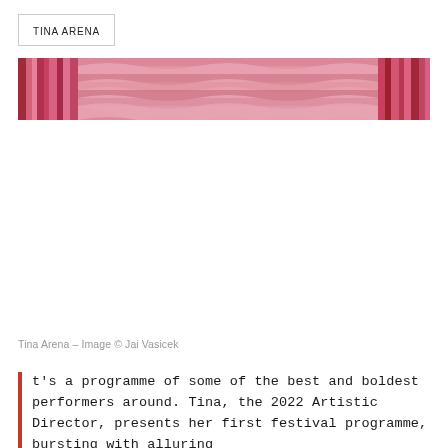TINA ARENA
[Figure (photo): A horizontal banner image showing pink and rose-colored wavy abstract patterns, resembling marbled or layered stone texture, with two panel segments visible.]
Tina Arena – Image © Jai Vasicek
t's a programme of some of the best and boldest performers around. Tina, the 2022 Artistic Director, presents her first festival programme, bursting with alluring